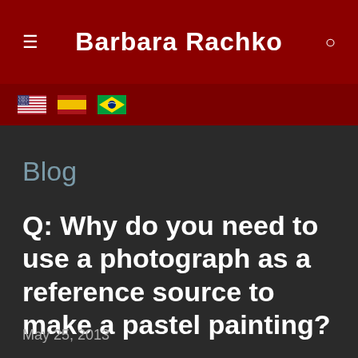Barbara Rachko
[Figure (illustration): Three flag icons: USA flag, Spain flag, Brazil flag]
Blog
Q: Why do you need to use a photograph as a reference source to make a pastel painting?
May 25, 2013